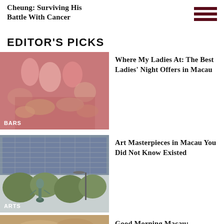Cheung: Surviving His Battle With Cancer
EDITOR'S PICKS
[Figure (photo): Women clinking cocktail glasses at a bar, warm pinkish tones, category label BARS]
Where My Ladies At: The Best Ladies' Night Offers in Macau
[Figure (photo): City building with trees and a sculpture in foreground, category label ARTS]
Art Masterpieces in Macau You Did Not Know Existed
[Figure (photo): Partial view of a morning scene, blurred]
Good Morning Macau: